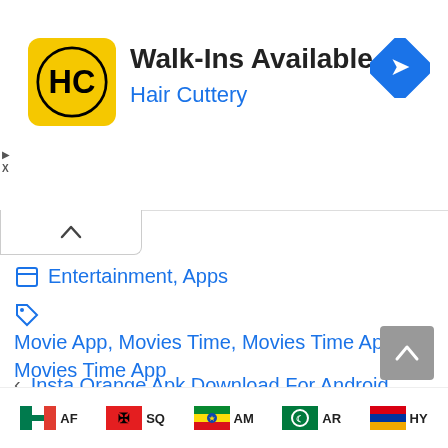[Figure (screenshot): Advertisement banner for Hair Cuttery showing logo, Walk-Ins Available text, and a navigation icon]
Entertainment, Apps
Movie App, Movies Time, Movies Time Apk, Movies Time App
Insta Orange Apk Download For Android [New 2022]
Taraftar 24 Apk Download 2022 For Android [Turkish Tv]
[Figure (screenshot): Footer with language flag icons: AF (South Africa), SQ (Albania), AM (Ethiopia/Amharic), AR (Arab League), HY (Armenia)]